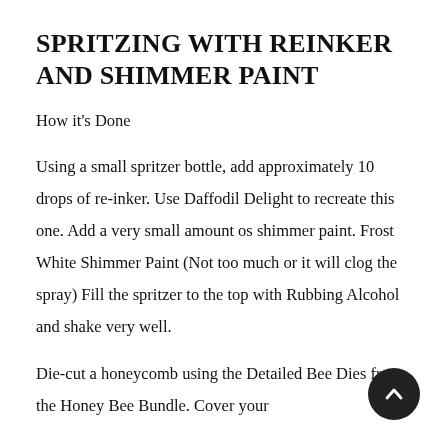SPRITZING WITH REINKER AND SHIMMER PAINT
How it's Done
Using a small spritzer bottle, add approximately 10 drops of re-inker. Use Daffodil Delight to recreate this one. Add a very small amount os shimmer paint. Frost White Shimmer Paint (Not too much or it will clog the spray) Fill the spritzer to the top with Rubbing Alcohol and shake very well.
Die-cut a honeycomb using the Detailed Bee Dies from the Honey Bee Bundle. Cover your